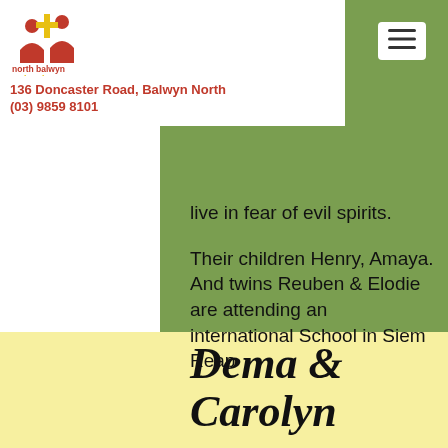[Figure (logo): North Balwyn Baptist church logo with figures and cross]
136 Doncaster Road, Balwyn North
(03) 9859 8101
live in fear of evil spirits.
Their children Henry, Amaya. And twins Reuben & Elodie are attending an international School in Siem Reap
Dema & Carolyn
Serving the Lord in Thailand